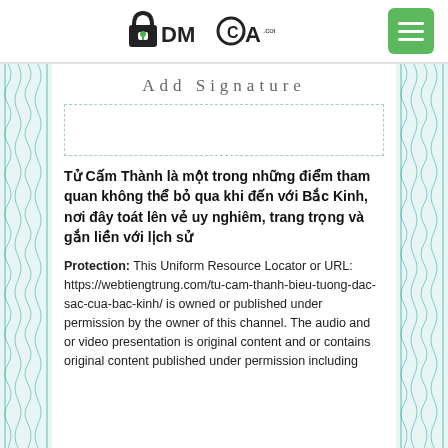DMCA.com | Add Signature
Add Signature
Tử Cấm Thành là một trong những điểm tham quan không thể bỏ qua khi đến với Bắc Kinh, nơi đây toát lên vẻ uy nghiêm, trang trọng và gắn liền với lịch sử
Protection: This Uniform Resource Locator or URL: https://webtiengtrung.com/tu-cam-thanh-bieu-tuong-dac-sac-cua-bac-kinh/ is owned or published under permission by the owner of this channel. The audio and or video presentation is original content and or contains original content published under permission including